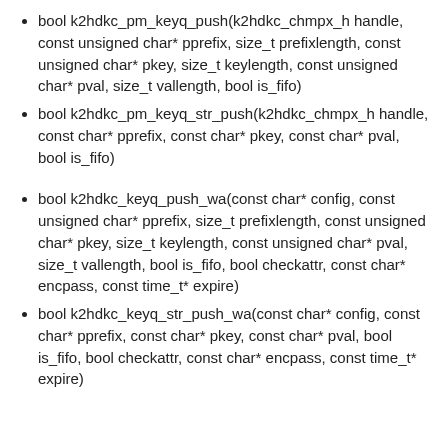bool k2hdkc_pm_keyq_push(k2hdkc_chmpx_h handle, const unsigned char* pprefix, size_t prefixlength, const unsigned char* pkey, size_t keylength, const unsigned char* pval, size_t vallength, bool is_fifo)
bool k2hdkc_pm_keyq_str_push(k2hdkc_chmpx_h handle, const char* pprefix, const char* pkey, const char* pval, bool is_fifo)
bool k2hdkc_keyq_push_wa(const char* config, const unsigned char* pprefix, size_t prefixlength, const unsigned char* pkey, size_t keylength, const unsigned char* pval, size_t vallength, bool is_fifo, bool checkattr, const char* encpass, const time_t* expire)
bool k2hdkc_keyq_str_push_wa(const char* config, const char* pprefix, const char* pkey, const char* pval, bool is_fifo, bool checkattr, const char* encpass, const time_t* expire)